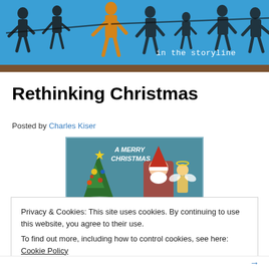[Figure (illustration): Website header banner with blue background showing black and white silhouettes of people walking, with one orange-highlighted figure in the center. Text 'in the storyline' in white monospace font at bottom right.]
Rethinking Christmas
Posted by Charles Kiser
[Figure (photo): Vintage Christmas postcard image showing a decorated Christmas tree on the left with colorful ornaments, and figures including what appears to be Santa Claus on the right. Blue/teal background with 'A Merry Christmas' text visible.]
Privacy & Cookies: This site uses cookies. By continuing to use this website, you agree to their use.
To find out more, including how to control cookies, see here: Cookie Policy
Close and accept